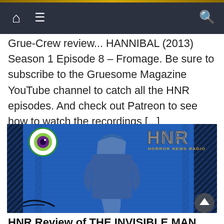Navigation bar with home, menu, and search icons
Grue-Crew review... HANNIBAL (2013) Season 1 Episode 8 – Fromage. Be sure to subscribe to the Gruesome Magazine YouTube channel to catch all the HNR episodes. And check out Patreon to see how to watch the recordings [...]
[Figure (photo): Promotional image for HNR (Horror News Radio) featuring a woman in a blue top looking upward, set against a blue industrial background with vertical bars. HNR Horror News Radio logo visible in top right, and an eyeball logo in top left.]
HNR Review of THE INVISIBLE MAN (2020)